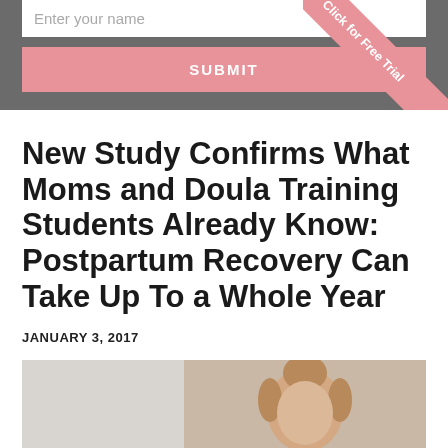[Figure (screenshot): Grey form area with text input field labeled 'Enter your name' and a pink SUBMIT button]
[Figure (other): Pink diagonal ribbon banner in top-right corner reading 'Click for Free Trial']
New Study Confirms What Moms and Doula Training Students Already Know: Postpartum Recovery Can Take Up To a Whole Year
JANUARY 3, 2017
[Figure (photo): Photo of a woman with hair tied up in a bun, wearing light clothing, partial view]